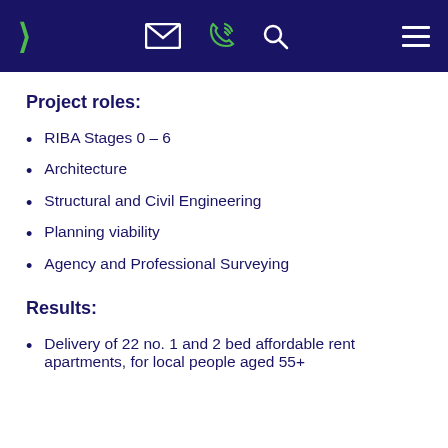Navigation header with logo chevron, envelope icon, phone icon, search icon, and hamburger menu
Project roles:
RIBA Stages 0 – 6
Architecture
Structural and Civil Engineering
Planning viability
Agency and Professional Surveying
Results:
Delivery of 22 no. 1 and 2 bed affordable rent apartments, for local people aged 55+